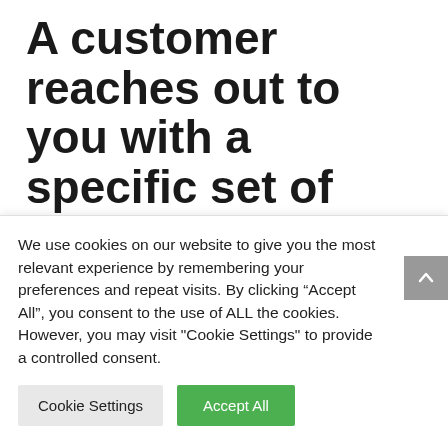A customer reaches out to you with a specific set of requirements for their device management. They have requested your
We use cookies on our website to give you the most relevant experience by remembering your preferences and repeat visits. By clicking “Accept All”, you consent to the use of ALL the cookies. However, you may visit "Cookie Settings" to provide a controlled consent.